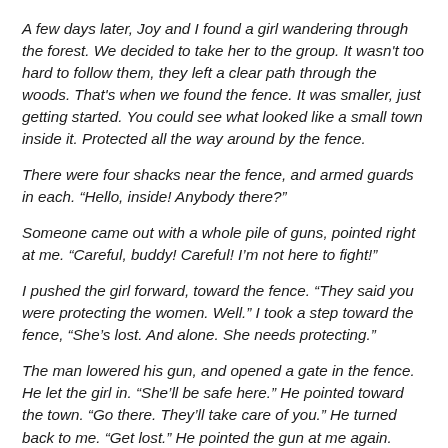A few days later, Joy and I found a girl wandering through the forest. We decided to take her to the group. It wasn't too hard to follow them, they left a clear path through the woods. That's when we found the fence. It was smaller, just getting started. You could see what looked like a small town inside it. Protected all the way around by the fence.
There were four shacks near the fence, and armed guards in each. “Hello, inside! Anybody there?”
Someone came out with a whole pile of guns, pointed right at me. “Careful, buddy! Careful! I’m not here to fight!”
I pushed the girl forward, toward the fence. “They said you were protecting the women. Well.” I took a step toward the fence, “She’s lost. And alone. She needs protecting.”
The man lowered his gun, and opened a gate in the fence. He let the girl in. “She’ll be safe here.” He pointed toward the town. “Go there. They’ll take care of you.” He turned back to me. “Get lost.” He pointed the gun at me again.